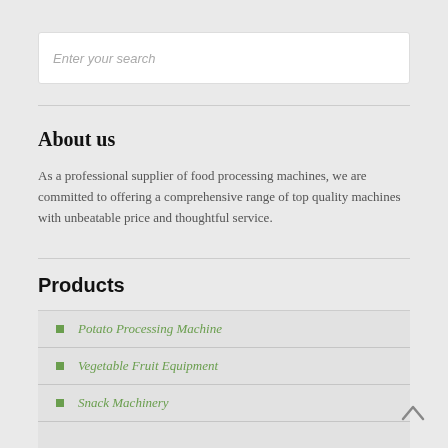Enter your search
About us
As a professional supplier of food processing machines, we are committed to offering a comprehensive range of top quality machines with unbeatable price and thoughtful service.
Products
Potato Processing Machine
Vegetable Fruit Equipment
Snack Machinery